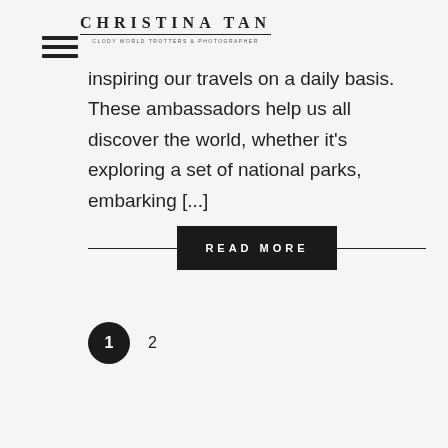Christina Tan — CLODY WORLD TROTTERS & PHOTOGRAPHER
inspiring our travels on a daily basis. These ambassadors help us all discover the world, whether it's exploring a set of national parks, embarking [...]
READ MORE
1  2